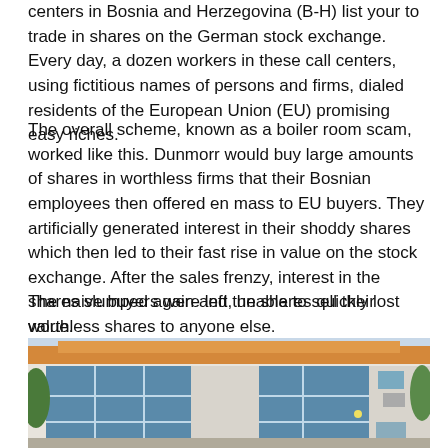centers in Bosnia and Herzegovina (B-H) list your to trade in shares on the German stock exchange. Every day, a dozen workers in these call centers, using fictitious names of persons and firms, dialed residents of the European Union (EU) promising easy riches.
The overall scheme, known as a boiler room scam, worked like this. Dunmorr would buy large amounts of shares in worthless firms that their Bosnian employees then offered en mass to EU buyers. They artificially generated interest in their shoddy shares which then led to their fast rise in value on the stock exchange. After the sales frenzy, interest in the shares slumped again and the shares quickly lost value.
The naive buyers were left, unable to sell their worthless shares to anyone else.
[Figure (photo): Exterior of a modern two-story commercial building with large blue-tinted glass windows, white stucco walls, and an orange/terracotta roof cornice. Trees visible on the sides.]